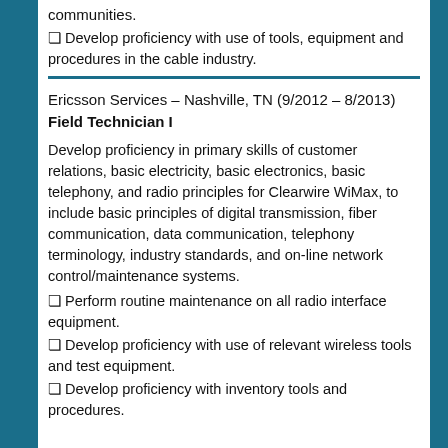communities.
◻ Develop proficiency with use of tools, equipment and procedures in the cable industry.
Ericsson Services – Nashville, TN (9/2012 – 8/2013)
Field Technician I
Develop proficiency in primary skills of customer relations, basic electricity, basic electronics, basic telephony, and radio principles for Clearwire WiMax, to include basic principles of digital transmission, fiber communication, data communication, telephony terminology, industry standards, and on-line network control/maintenance systems.
◻ Perform routine maintenance on all radio interface equipment.
◻ Develop proficiency with use of relevant wireless tools and test equipment.
◻ Develop proficiency with inventory tools and procedures.